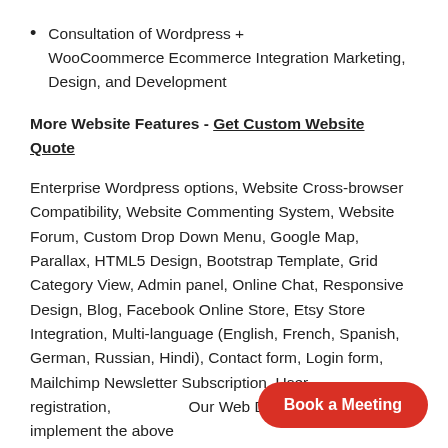Consultation of Wordpress + WooCoommerce Ecommerce Integration Marketing, Design, and Development
More Website Features - Get Custom Website Quote
Enterprise Wordpress options, Website Cross-browser Compatibility, Website Commenting System, Website Forum, Custom Drop Down Menu, Google Map, Parallax, HTML5 Design, Bootstrap Template, Grid Category View, Admin panel, Online Chat, Responsive Design, Blog, Facebook Online Store, Etsy Store Integration, Multi-language (English, French, Spanish, German, Russian, Hindi), Contact form, Login form, Mailchimp Newsletter Subscription, User registration, Our Web Design team can also implement the above
Book a Meeting